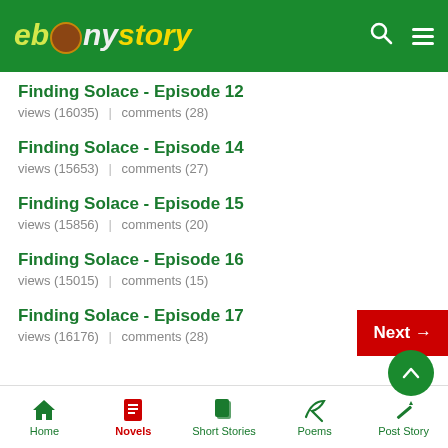ebonystory
Finding Solace - Episode 12
views (16035) | comments (28)
Finding Solace - Episode 14
views (15653) | comments (27)
Finding Solace - Episode 15
views (15856) | comments (20)
Finding Solace - Episode 16
views (15015) | comments (15)
Finding Solace - Episode 17
views (16176) | comments (28)
Home | Novels | Short Stories | Poems | Post Story